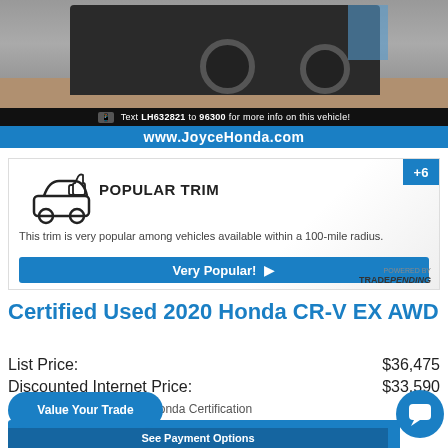[Figure (photo): Partial rear view of a dark Honda CR-V vehicle in a parking lot, with a black banner reading 'Text LH632821 to 96300 for more info on this vehicle!' and a blue bar showing 'www.JoyceHonda.com']
[Figure (infographic): Popular Trim badge with car icon and thumbs up. Text: 'This trim is very popular among vehicles available within a 100-mile radius.' Blue button: 'Very Popular!' Powered by TRADEPENDING. +6 badge in top right corner.]
Certified Used 2020 Honda CR-V EX AWD
List Price:  $36,475
Discounted Internet Price:  $33,590
Includes Reconditioning & Honda Certification
for Current Market Pricing
Value Your Trade
See Payment Options